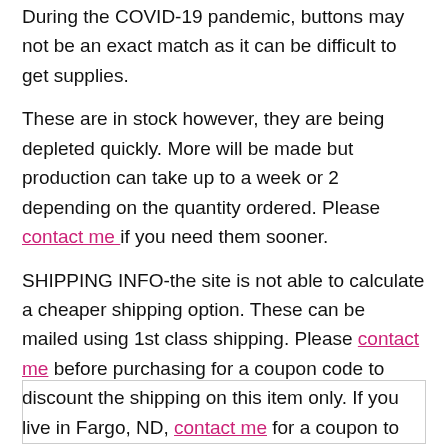During the COVID-19 pandemic, buttons may not be an exact match as it can be difficult to get supplies.
These are in stock however, they are being depleted quickly. More will be made but production can take up to a week or 2 depending on the quantity ordered. Please contact me if you need them sooner.
SHIPPING INFO-the site is not able to calculate a cheaper shipping option. These can be mailed using 1st class shipping. Please contact me before purchasing for a coupon code to discount the shipping on this item only. If you live in Fargo, ND, contact me for a coupon to